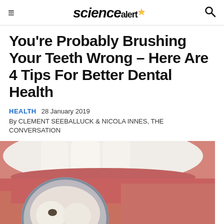sciencealert
You're Probably Brushing Your Teeth Wrong – Here Are 4 Tips For Better Dental Health
HEALTH   28 January 2019
By CLEMENT SEEBALLUCK & NICOLA INNES, THE CONVERSATION
[Figure (photo): Close-up dental photo showing teeth with a cavity being examined with a dental mirror]
(Sergii Kuchugurnvi/Shutterstock)